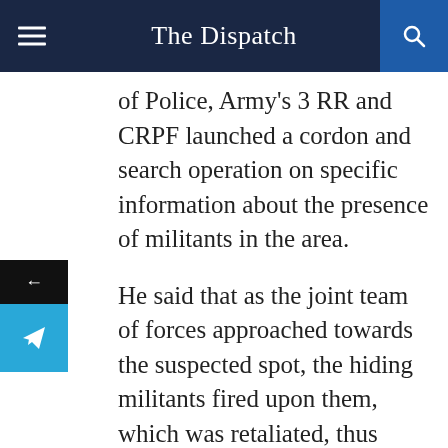The Dispatch
of Police, Army's 3 RR and CRPF launched a cordon and search operation on specific information about the presence of militants in the area.
He said that as the joint team of forces approached towards the suspected spot, the hiding militants fired upon them, which was retaliated, thus triggering an encounter.
A senior police officer also confirmed the exchange of fire between forces and militants at the outset. As per the sources,